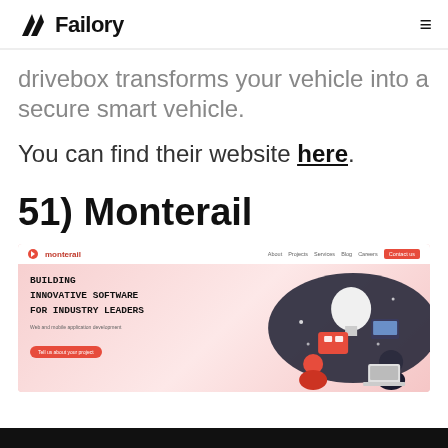Failory
drivebox transforms your vehicle into a secure smart vehicle.
You can find their website here.
51) Monterail
[Figure (screenshot): Screenshot of the Monterail website homepage showing 'BUILDING INNOVATIVE SOFTWARE FOR INDUSTRY LEADERS' headline with a red CTA button 'Tell us about your project' and illustrated characters on a pink/red gradient background]